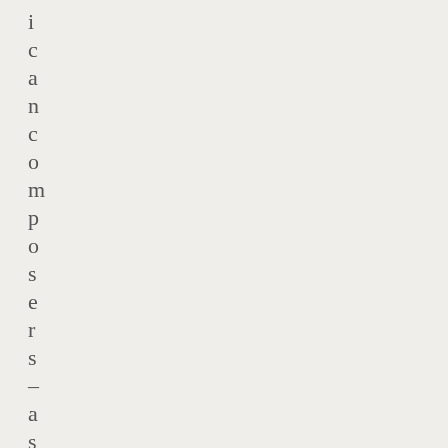i
c
a
n
c
o
m
p
o
s
e
r
s
–
a
s
a